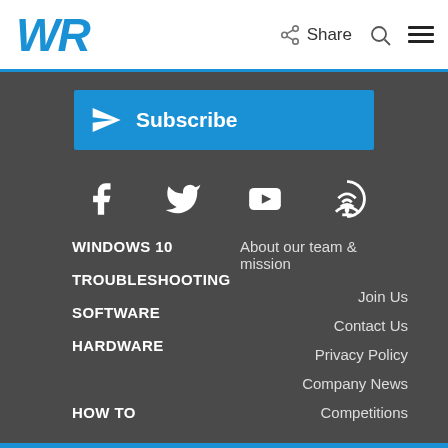WR | Share
[Figure (illustration): Subscribe button with paper plane icon]
[Figure (illustration): Social media icons: Facebook, Twitter, YouTube, Podcast/RSS]
WINDOWS 10
About our team & mission
Join Us
TROUBLESHOOTING
Contact Us
SOFTWARE
Privacy Policy
HARDWARE
Company News
HOW TO
Competitions